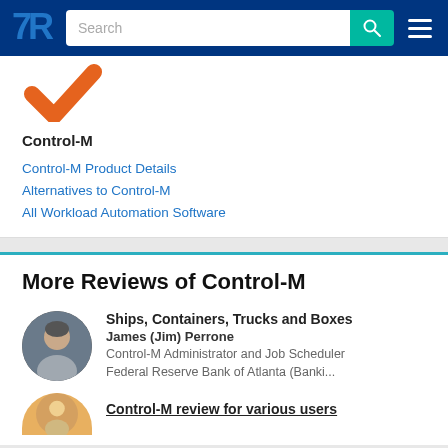TrustRadius navigation bar with search
Control-M
Control-M Product Details
Alternatives to Control-M
All Workload Automation Software
More Reviews of Control-M
Ships, Containers, Trucks and Boxes
James (Jim) Perrone
Control-M Administrator and Job Scheduler
Federal Reserve Bank of Atlanta (Banki...
Control-M review for various users